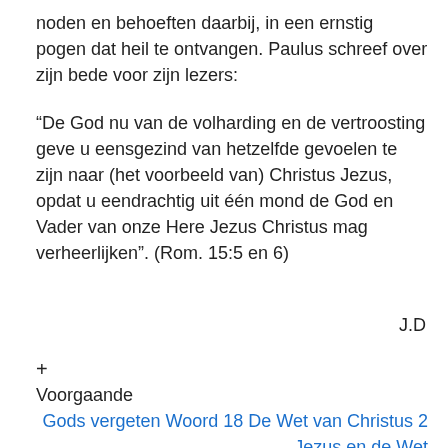noden en behoeften daarbij, in een ernstig pogen dat heil te ontvangen. Paulus schreef over zijn bede voor zijn lezers:
“De God nu van de volharding en de vertroosting geve u eensgezind van hetzelfde gevoelen te zijn naar (het voorbeeld van) Christus Jezus, opdat u eendrachtig uit één mond de God en Vader van onze Here Jezus Christus mag verheerlijken”. (Rom. 15:5 en 6)
J.D
+
Voorgaande
Gods vergeten Woord 18 De Wet van Christus 2 Jezus en de Wet